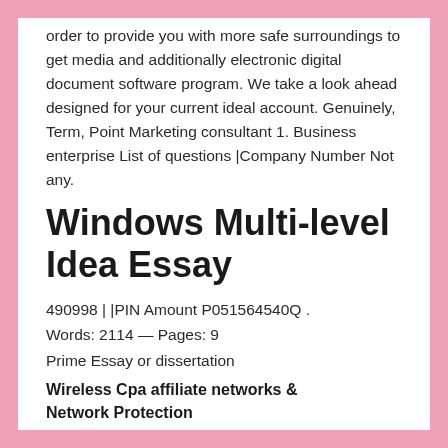order to provide you with more safe surroundings to get media and additionally electronic digital document software program. We take a look ahead designed for your current ideal account. Genuinely, Term, Point Marketing consultant 1. Business enterprise List of questions |Company Number Not any.
Windows Multi-level Idea Essay
490998 | |PIN Amount P051564540Q . Words: 2114 — Pages: 9 Prime Essay or dissertation
Wireless Cpa affiliate networks & Network Protection
.Wireless Networks & Circle Reliability ISSC 340 Teacher Vijay Venkatesh Adam Lange 08/13/2013 Mobile Cpa networks are somewhat innovative concept around assessment to be able to that know-how that creates him or her likely.